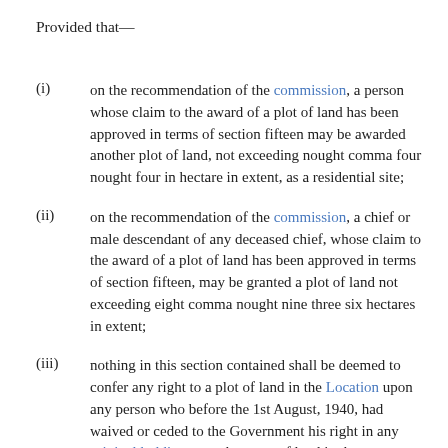Provided that—
(i) on the recommendation of the commission, a person whose claim to the award of a plot of land has been approved in terms of section fifteen may be awarded another plot of land, not exceeding nought comma four nought four in hectare in extent, as a residential site;
(ii) on the recommendation of the commission, a chief or male descendant of any deceased chief, whose claim to the award of a plot of land has been approved in terms of section fifteen, may be granted a plot of land not exceeding eight comma nought nine three six hectares in extent;
(iii) nothing in this section contained shall be deemed to confer any right to a plot of land in the Location upon any person who before the 1st August, 1940, had waived or ceded to the Government his right in any original holding or to the grant of land in the